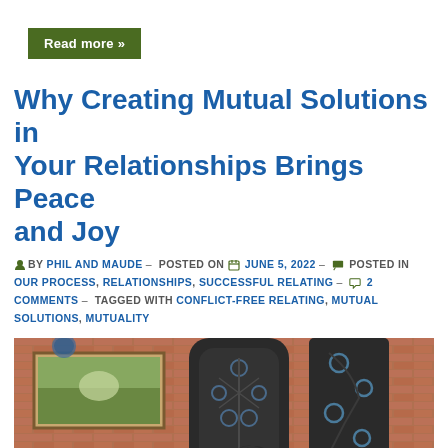Read more »
Why Creating Mutual Solutions in Your Relationships Brings Peace and Joy
BY PHIL AND MAUDE – POSTED ON JUNE 5, 2022 – POSTED IN OUR PROCESS, RELATIONSHIPS, SUCCESSFUL RELATING – 2 COMMENTS – TAGGED WITH CONFLICT-FREE RELATING, MUTUAL SOLUTIONS, MUTUALITY
[Figure (photo): Photo of two people (Phil and Maude) in a restaurant or venue with brick walls, ornate iron fireplace screen with floral motifs, and artwork hanging on the wall behind them.]